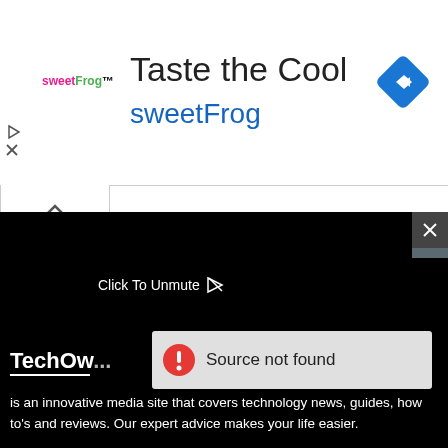[Figure (screenshot): SweetFrog advertisement banner showing 'Taste the Cool' title and sweetFrog branding in pink and green, with a blue navigation diamond icon on the right]
Taste the Cool
sweetFrog
[Figure (screenshot): Collapse/minimize chevron tab button below ad banner]
[Figure (screenshot): Black video player area with 'Click To Unmute' label and cursor icon, and a 'Source not found' error overlay with red exclamation icon]
Click To Unmute
TechOw...
Source not found
is an innovative media site that covers technology news, guides, how to's and reviews. Our expert advice makes your life easier.
Engage